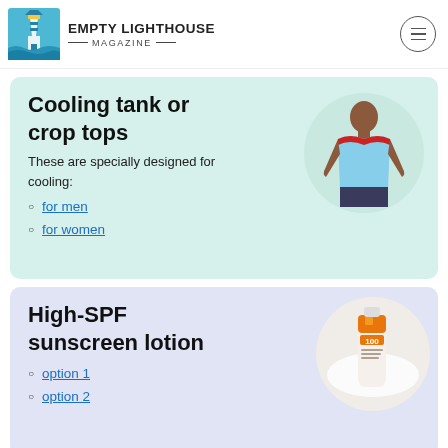EMPTY LIGHTHOUSE MAGAZINE
Cooling tank or crop tops
These are specially designed for cooling:
for men
for women
[Figure (photo): Man wearing a light blue sleeveless cooling tank top with red trim]
High-SPF sunscreen lotion
option 1
option 2
[Figure (photo): La Roche-Posay SPF 100 sunscreen lotion tube on a white surface]